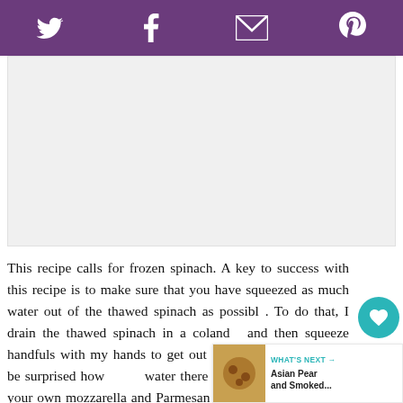Twitter Facebook Email Pinterest social share bar
[Figure (other): Advertisement placeholder box with light gray background]
This recipe calls for frozen spinach. A key to success with this recipe is to make sure that you have squeezed as much water out of the thawed spinach as possible. To do that, I drain the thawed spinach in a colander and then squeeze handfuls with my hands to get out any excess water. You'd be surprised how much water there is. I recommend grating your own mozzarella and Parmesan cheese. It's really worth the
[Figure (other): What's Next widget showing Asian Pear and Smoked... with a food thumbnail image]